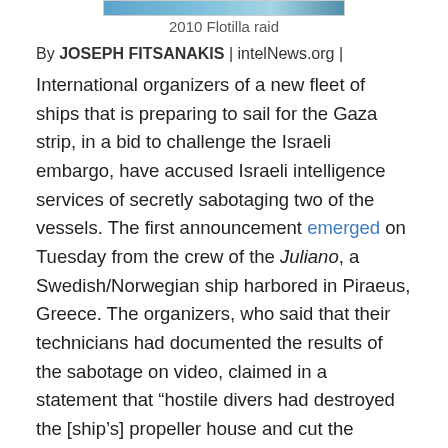[Figure (photo): Top portion of an image, likely showing the 2010 Flotilla raid, partially cropped at the top of the page.]
2010 Flotilla raid
By JOSEPH FITSANAKIS | intelNews.org |
International organizers of a new fleet of ships that is preparing to sail for the Gaza strip, in a bid to challenge the Israeli embargo, have accused Israeli intelligence services of secretly sabotaging two of the vessels. The first announcement emerged on Tuesday from the crew of the Juliano, a Swedish/Norwegian ship harbored in Piraeus, Greece. The organizers, who said that their technicians had documented the results of the sabotage on video, claimed in a statement that “hostile divers had destroyed the [ship’s] propeller house and cut the propeller shaft”. A day later, Irish organizers onboard the MV Saoirse, which is currently docked in Turkey, told Reuters that the vessel experienced major technical damage as it